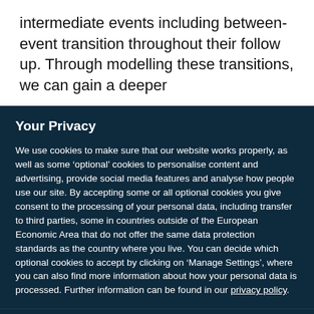intermediate events including between-event transition throughout their follow up. Through modelling these transitions, we can gain a deeper
Your Privacy
We use cookies to make sure that our website works properly, as well as some ‘optional’ cookies to personalise content and advertising, provide social media features and analyse how people use our site. By accepting some or all optional cookies you give consent to the processing of your personal data, including transfer to third parties, some in countries outside of the European Economic Area that do not offer the same data protection standards as the country where you live. You can decide which optional cookies to accept by clicking on ‘Manage Settings’, where you can also find more information about how your personal data is processed. Further information can be found in our privacy policy.
Accept all cookies
Manage preferences